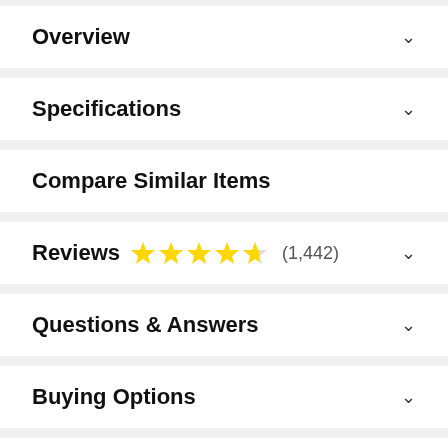Overview
Specifications
Compare Similar Items
Reviews ★★★★½ (1,442)
Questions & Answers
Buying Options
From the Manufacturer